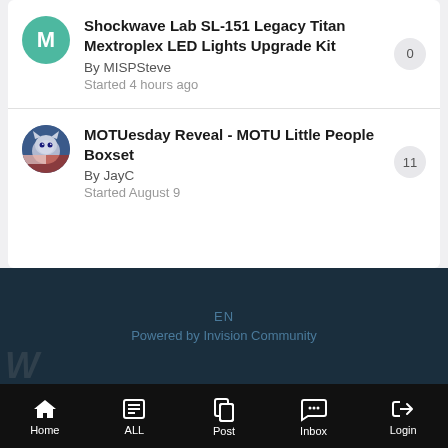Shockwave Lab SL-151 Legacy Titan Mextroplex LED Lights Upgrade Kit By MISPSteve Started 4 hours ago — 0 replies
MOTUesday Reveal - MOTU Little People Boxset By JayC Started August 9 — 11 replies
EN
Powered by Invision Community
[Figure (screenshot): Toy News banner: italic logo 'Toy News' with tagline ACTION FIGURE NEWS AND REVIEWS in yellow]
Home | ALL | Post | Inbox | Login